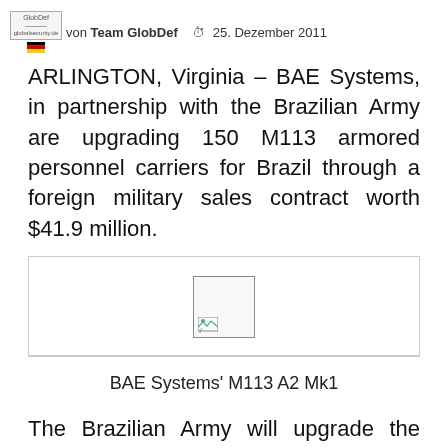von Team GlobDef  25. Dezember 2011
ARLINGTON, Virginia – BAE Systems, in partnership with the Brazilian Army are upgrading 150 M113 armored personnel carriers for Brazil through a foreign military sales contract worth $41.9 million.
[Figure (photo): Broken image placeholder for BAE Systems M113 A2 Mk1]
BAE Systems' M113 A2 Mk1
The Brazilian Army will upgrade the M113B vehicles to the M113A2 Mk1 configuration.  Under this work, the vehicle hulls, hatches and ramps will be reused while all other components including the engines